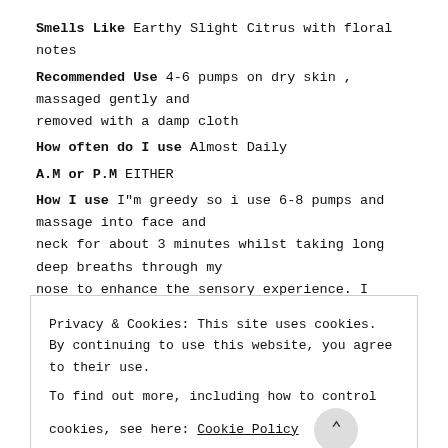Smells Like Earthy Slight Citrus with floral notes
Recommended Use 4-6 pumps on dry skin , massaged gently and removed with a damp cloth
How often do I use Almost Daily
A.M or P.M EITHER
How I use I"m greedy so i use 6-8 pumps and massage into face and neck for about 3 minutes whilst taking long deep breaths through my nose to enhance the sensory experience. I remove with a warm washcloth.
Tips on using My only tips are to savour the experience and not
Privacy & Cookies: This site uses cookies. By continuing to use this website, you agree to their use. To find out more, including how to control cookies, see here: Cookie Policy
CLOSE AND ACCEPT
*CALOPHYLLUM INOPHYLLUM (TAMANU) OIL *CAMELLIA